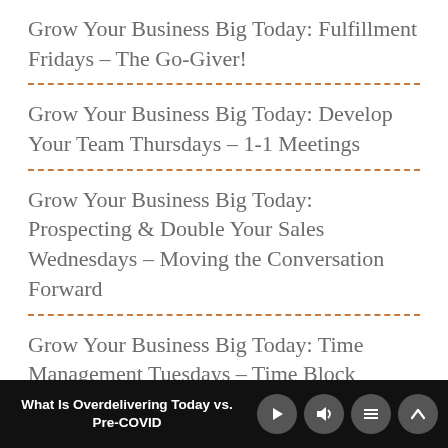Grow Your Business Big Today: Fulfillment Fridays – The Go-Giver!
Grow Your Business Big Today: Develop Your Team Thursdays – 1-1 Meetings
Grow Your Business Big Today: Prospecting & Double Your Sales Wednesdays – Moving the Conversation Forward
Grow Your Business Big Today: Time Management Tuesdays – Time Block
What Is Overdelivering Today vs. Pre-COVID